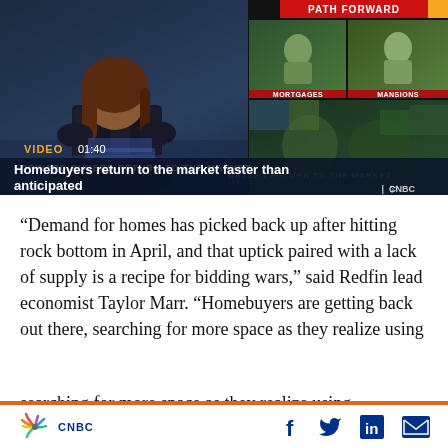[Figure (screenshot): CNBC news broadcast screenshot showing video thumbnail with anchor at desk, PATH FORWARD banner, two sub-panels labeled MORTGAGES and MANSIONS, VIDEO 01:40 badge, and headline 'Homebuyers return to the market faster than anticipated' with CNBC watermark]
“Demand for homes has picked back up after hitting rock bottom in April, and that uptick paired with a lack of supply is a recipe for bidding wars,” said Redfin lead economist Taylor Marr. “Homebuyers are getting back out there, searching for more space as they realize using
CNBC | social icons: Facebook, Twitter, LinkedIn, Email